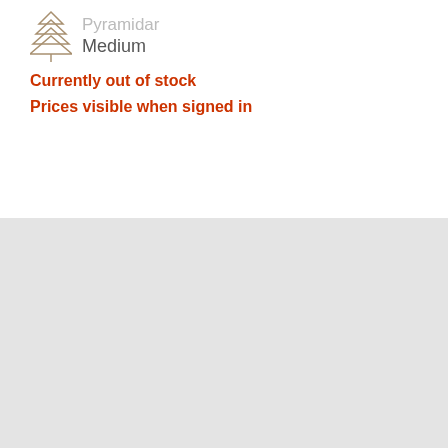[Figure (illustration): Pyramidal tree/plant icon in olive/tan color with 4 tiers]
Pyramidar
Medium
Currently out of stock
Prices visible when signed in